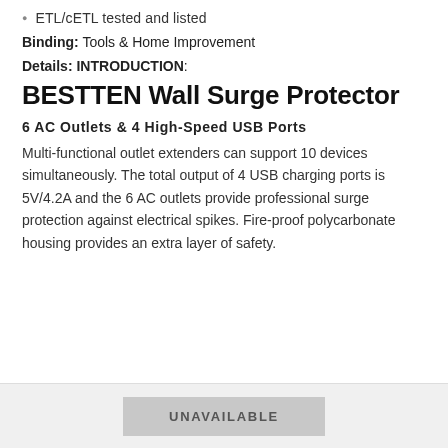ETL/cETL tested and listed
Binding: Tools & Home Improvement
Details: INTRODUCTION:
BESTTEN Wall Surge Protector
6 AC Outlets & 4 High-Speed USB Ports
Multi-functional outlet extenders can support 10 devices simultaneously. The total output of 4 USB charging ports is 5V/4.2A and the 6 AC outlets provide professional surge protection against electrical spikes. Fire-proof polycarbonate housing provides an extra layer of safety.
UNAVAILABLE